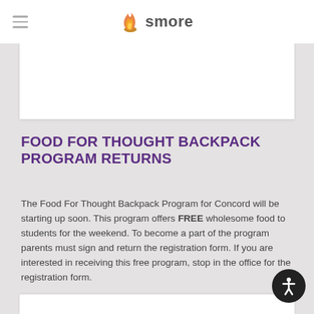smore
[Figure (other): White content card area (top portion, cropped)]
FOOD FOR THOUGHT BACKPACK PROGRAM RETURNS
The Food For Thought Backpack Program for Concord will be starting up soon. This program offers FREE wholesome food to students for the weekend. To become a part of the program parents must sign and return the registration form. If you are interested in receiving this free program, stop in the office for the registration form.